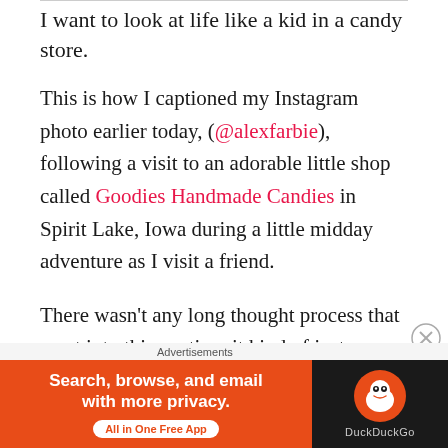I want to look at life like a kid in a candy store.
This is how I captioned my Instagram photo earlier today, (@alexfarbie),  following a visit to an adorable little shop called Goodies Handmade Candies in Spirit Lake, Iowa during a little midday adventure as I visit a friend.
There wasn't any long thought process that went into this caption, it kind of just came to me.... but it really got me thinking! It's crazy how something profound can come around in the simplest way.
[Figure (screenshot): DuckDuckGo advertisement banner: orange left section with text 'Search, browse, and email with more privacy. All in One Free App' and dark right section with DuckDuckGo logo and name.]